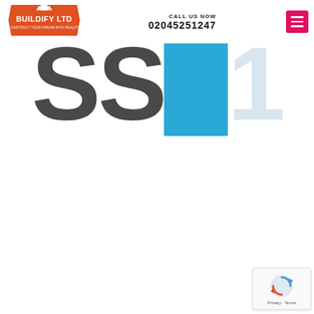[Figure (logo): Buildify Ltd logo — orange hexagonal badge with house icon and white text 'BUILDIFY LTD' and 'CONSTRUCT YOUR DREAM INTO REALITY']
CALL US NOW
02045251247
[Figure (other): Red/crimson hamburger menu button with three white horizontal lines]
[Figure (other): Large decorative background typography showing partial letters in dark grey, light blue, and bright blue — part of the word 'sson' or similar brand wordmark]
[Figure (other): Google reCAPTCHA badge widget showing reCAPTCHA logo with 'Privacy - Terms' text]